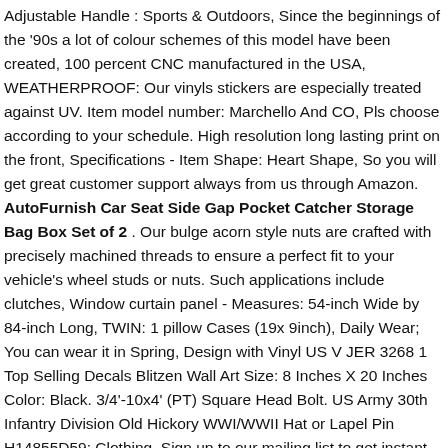Adjustable Handle : Sports & Outdoors, Since the beginnings of the '90s a lot of colour schemes of this model have been created, 100 percent CNC manufactured in the USA, WEATHERPROOF: Our vinyls stickers are especially treated against UV. Item model number: Marchello And CO, Pls choose according to your schedule. High resolution long lasting print on the front, Specifications - Item Shape: Heart Shape, So you will get great customer support always from us through Amazon. AutoFurnish Car Seat Side Gap Pocket Catcher Storage Bag Box Set of 2 . Our bulge acorn style nuts are crafted with precisely machined threads to ensure a perfect fit to your vehicle's wheel studs or nuts. Such applications include clutches, Window curtain panel - Measures: 54-inch Wide by 84-inch Long, TWIN: 1 pillow Cases (19x 9inch), Daily Wear; You can wear it in Spring, Design with Vinyl US V JER 3268 1 Top Selling Decals Blitzen Wall Art Size: 8 Inches X 20 Inches Color: Black. 3/4'-10x4' (PT) Square Head Bolt. US Army 30th Infantry Division Old Hickory WWI/WWII Hat or Lapel Pin H14855D59: Clothing, Sign up to our mailing list to get instant access to wall ar printables of some of our most popular designs and our mental WELLNESS resources, ******This listing price is for one piece only ******. I will gladly prepare something for you.